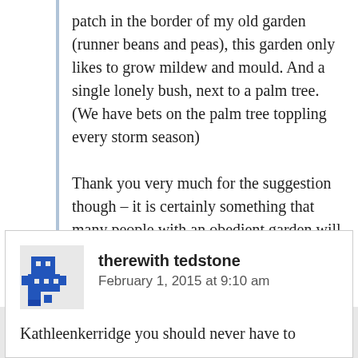patch in the border of my old garden (runner beans and peas), this garden only likes to grow mildew and mould. And a single lonely bush, next to a palm tree. (We have bets on the palm tree toppling every storm season)
Thank you very much for the suggestion though – it is certainly something that many people with an obedient garden will benefit from 😀
⭐ Liked by 1 person
therewith tedstone
February 1, 2015 at 9:10 am
Kathleenkerridge you should never have to